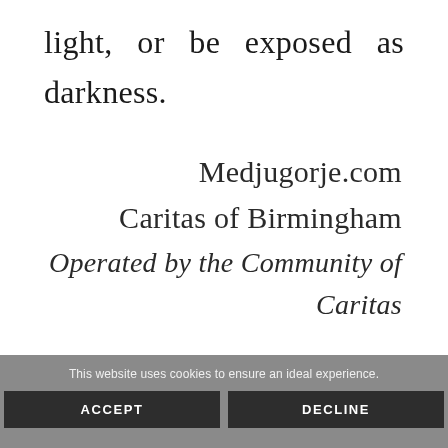light, or be exposed as darkness.
Medjugorje.com
Caritas of Birmingham
Operated by the Community of Caritas
This website uses cookies to ensure an ideal experience.
ACCEPT
DECLINE